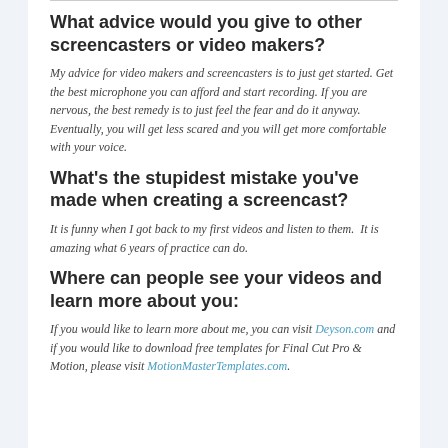What advice would you give to other screencasters or video makers?
My advice for video makers and screencasters is to just get started. Get the best microphone you can afford and start recording. If you are nervous, the best remedy is to just feel the fear and do it anyway. Eventually, you will get less scared and you will get more comfortable with your voice.
What's the stupidest mistake you've made when creating a screencast?
It is funny when I got back to my first videos and listen to them.  It is amazing what 6 years of practice can do.
Where can people see your videos and learn more about you:
If you would like to learn more about me, you can visit Deyson.com and if you would like to download free templates for Final Cut Pro & Motion, please visit MotionMasterTemplates.com.